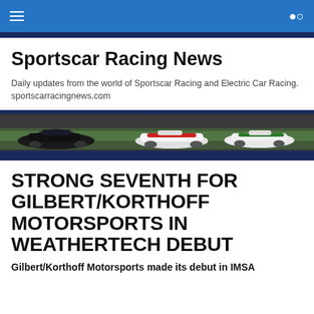Sportscar Racing News navigation bar
Sportscar Racing News
Daily updates from the world of Sportscar Racing and Electric Car Racing. sportscarracingnews.com
[Figure (photo): Banner photo of multiple prototype racing sportscars on track]
STRONG SEVENTH FOR GILBERT/KORTHOFF MOTORSPORTS IN WEATHERTECH DEBUT
Gilbert/Korthoff Motorsports made its debut in IMSA